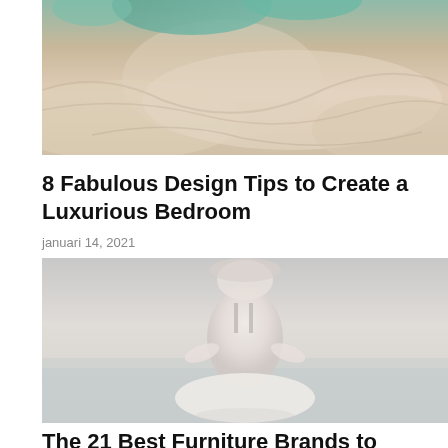[Figure (photo): Top portion of a bedroom scene showing crumpled white/cream bed linens with some teal/green fabric visible at top]
8 Fabulous Design Tips to Create a Luxurious Bedroom
januari 14, 2021
[Figure (photo): Faded/washed out photo of a person (woman) seen from behind, sitting in a meditation pose, wearing a white outfit, near water]
The 21 Best Furniture Brands to Check Out Now